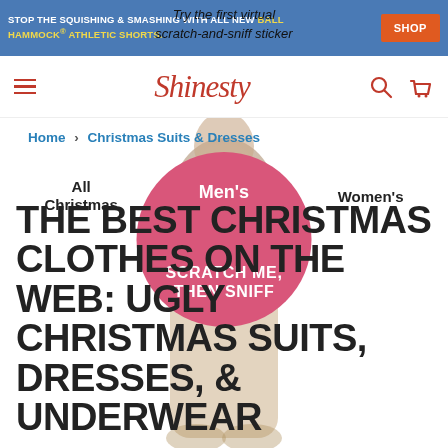STOP THE SQUISHING & SMASHING WITH ALL NEW BALL HAMMOCK® ATHLETIC SHORTS.
Try the first virtual scratch-and-sniff sticker
Shinesty
Home > Christmas Suits & Dresses
All Christmas   Men's   Women's
[Figure (illustration): Pink circle with text SCRATCH ME, THEN SNIFF overlaid on a figure of a person standing with back turned]
THE BEST CHRISTMAS CLOTHES ON THE WEB: UGLY CHRISTMAS SUITS, DRESSES, & UNDERWEAR